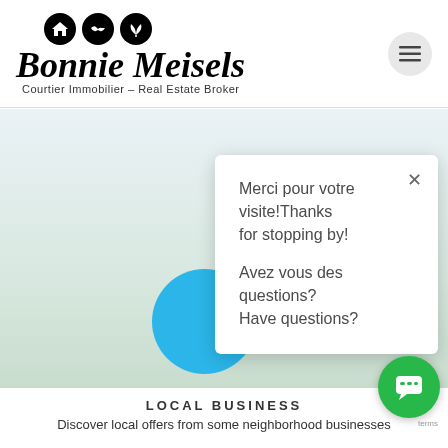[Figure (logo): Bonnie Meisels real estate broker logo with three circular icons (house, handshake, leaf) and script text 'Bonnie Meisels', subtitle 'Courtier Immobilier – Real Estate Broker']
[Figure (screenshot): Hamburger menu button (three horizontal lines) in a light gray circle in the top right corner]
[Figure (map): Map background with a large blue circle map marker/location pin]
Merci pour votre visite!Thanks for stopping by!

Avez vous des questions?
Have questions?
LOCAL BUSINESS
Discover local offers from some neighborhood businesses